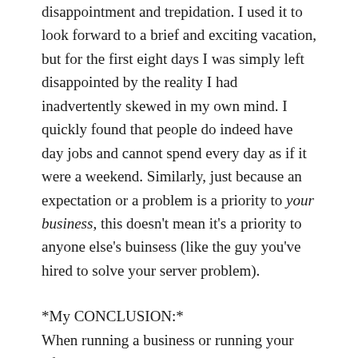disappointment and trepidation. I used it to look forward to a brief and exciting vacation, but for the first eight days I was simply left disappointed by the reality I had inadvertently skewed in my own mind. I quickly found that people do indeed have day jobs and cannot spend every day as if it were a weekend. Similarly, just because an expectation or a problem is a priority to your business, this doesn't mean it's a priority to anyone else's buinsess (like the guy you've hired to solve your server problem).
*My CONCLUSION:*
When running a business or running your life, it is essential that you keep your expectations in check. *You shouldn't expect the worst, or the best; strive for a balance that equates to a realistic view of your circumstances.* This will not only make you happier,